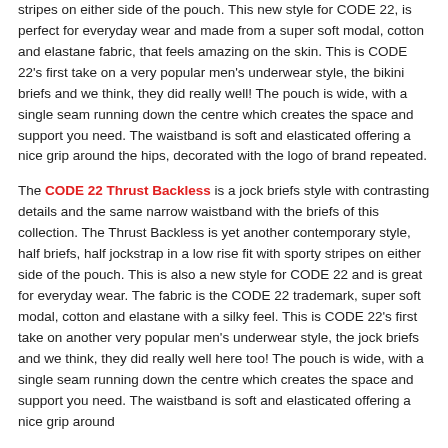stripes on either side of the pouch. This new style for CODE 22, is perfect for everyday wear and made from a super soft modal, cotton and elastane fabric, that feels amazing on the skin. This is CODE 22's first take on a very popular men's underwear style, the bikini briefs and we think, they did really well! The pouch is wide, with a single seam running down the centre which creates the space and support you need. The waistband is soft and elasticated offering a nice grip around the hips, decorated with the logo of brand repeated.
The CODE 22 Thrust Backless is a jock briefs style with contrasting details and the same narrow waistband with the briefs of this collection. The Thrust Backless is yet another contemporary style, half briefs, half jockstrap in a low rise fit with sporty stripes on either side of the pouch. This is also a new style for CODE 22 and is great for everyday wear. The fabric is the CODE 22 trademark, super soft modal, cotton and elastane with a silky feel. This is CODE 22's first take on another very popular men's underwear style, the jock briefs and we think, they did really well here too! The pouch is wide, with a single seam running down the centre which creates the space and support you need. The waistband is soft and elasticated offering a nice grip around